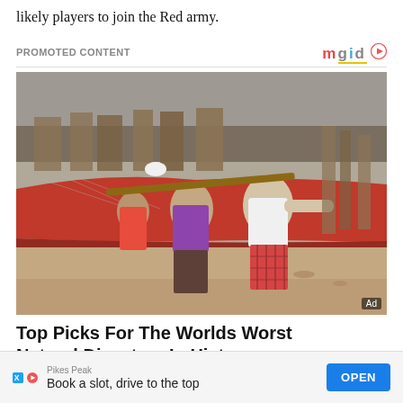likely players to join the Red army.
PROMOTED CONTENT
[Figure (photo): Several men pushing a large boat on a sandy shore, with fishing boats in the background during what appears to be a storm or cyclone.]
Top Picks For The Worlds Worst Natural Disasters In History
BRAINBERRIES
[Figure (other): Bottom advertisement banner: Pikes Peak - Book a slot, drive to the top - OPEN button]
Pikes Peak
Book a slot, drive to the top